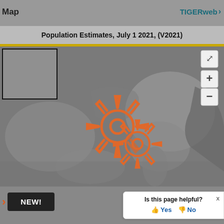Map
TIGERweb >
Population Estimates, July 1 2021, (V2021)
[Figure (map): Interactive US map with gear/settings icons overlay, a selection rectangle in top-left, and map zoom/fullscreen controls on the right side]
NEW!
Is this page helpful? Yes No